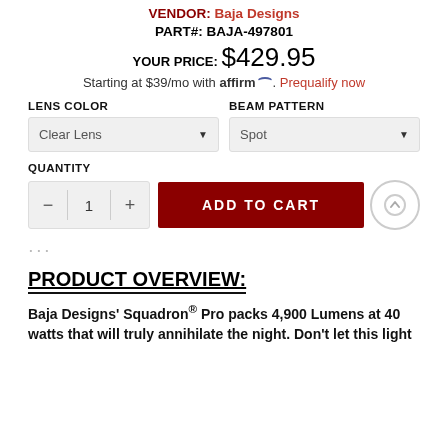VENDOR: Baja Designs
PART#: BAJA-497801
YOUR PRICE: $429.95
Starting at $39/mo with affirm. Prequalify now
LENS COLOR
Clear Lens
BEAM PATTERN
Spot
QUANTITY
ADD TO CART
PRODUCT OVERVIEW:
Baja Designs' Squadron® Pro packs 4,900 Lumens at 40 watts that will truly annihilate the night. Don't let this light